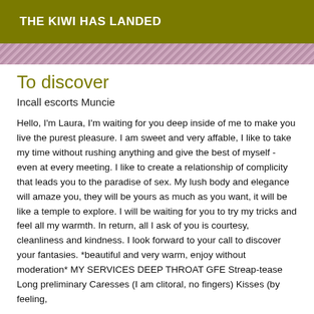THE KIWI HAS LANDED
[Figure (photo): Partial image strip showing a floral or patterned pink/purple background, cropped at the top of the content area.]
To discover
Incall escorts Muncie
Hello, I'm Laura, I'm waiting for you deep inside of me to make you live the purest pleasure. I am sweet and very affable, I like to take my time without rushing anything and give the best of myself - even at every meeting. I like to create a relationship of complicity that leads you to the paradise of sex. My lush body and elegance will amaze you, they will be yours as much as you want, it will be like a temple to explore. I will be waiting for you to try my tricks and feel all my warmth. In return, all I ask of you is courtesy, cleanliness and kindness. I look forward to your call to discover your fantasies. *beautiful and very warm, enjoy without moderation* MY SERVICES DEEP THROAT GFE Streap-tease Long preliminary Caresses (I am clitoral, no fingers) Kisses (by feeling,